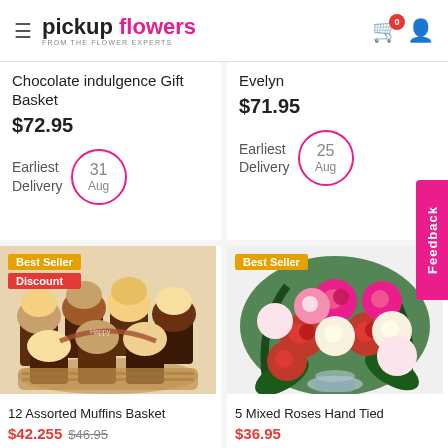pickup flowers - FROM THE FLOWER EXPERTS
Chocolate indulgence Gift Basket
$72.95
Earliest Delivery 31 Aug
Evelyn
$71.95
Earliest Delivery 25 Aug
[Figure (photo): 12 Assorted Muffins Basket with Best Seller and Discount badges]
12 Assorted Muffins Basket
$42.255  $46.95
[Figure (photo): 5 Mixed Roses Hand Tied flower bouquet with Best Seller badge]
5 Mixed Roses Hand Tied
$36.95